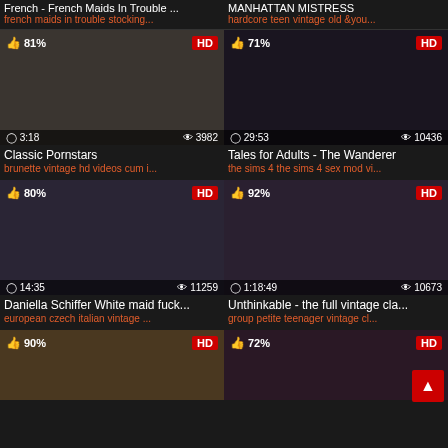French - French Maids In Trouble ...
french maids in trouble stocking...
MANHATTAN MISTRESS
hardcore teen vintage old &you...
[Figure (screenshot): Video thumbnail - Classic Pornstars, 81%, HD, 3:18 duration, 3982 views]
Classic Pornstars
brunette vintage hd videos cum i...
[Figure (screenshot): Video thumbnail - Tales for Adults - The Wanderer, 71%, HD, 29:53 duration, 10436 views]
Tales for Adults - The Wanderer
the sims 4 the sims 4 sex mod vi...
[Figure (screenshot): Video thumbnail - Daniella Schiffer White maid fuck..., 80%, HD, 14:35 duration, 11259 views]
Daniella Schiffer White maid fuck...
european czech italian vintage ...
[Figure (screenshot): Video thumbnail - Unthinkable - the full vintage cla..., 92%, HD, 1:18:49 duration, 10673 views]
Unthinkable - the full vintage cla...
group petite teenager vintage cl...
[Figure (screenshot): Video thumbnail - bottom left, 90%, HD]
[Figure (screenshot): Video thumbnail - bottom right, 72%, HD]